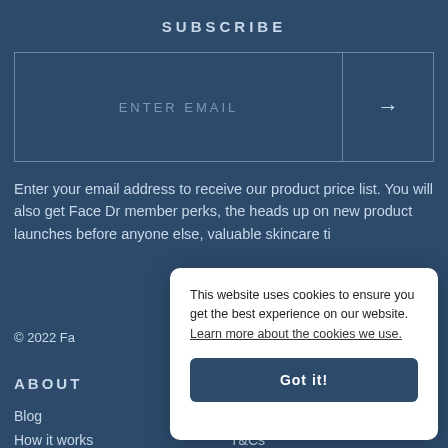SUBSCRIBE
[Figure (other): Email input field with placeholder text 'ENTER EMAIL' and a submit arrow button on the right]
Enter your email address to receive our product price list. You will also get Face Dr member perks, the heads up on new product launches before anyone else, valuable skincare tips and offers.
© 2022 Fa...
ABOUT
Blog
How it works
T&Cs
This website uses cookies to ensure you get the best experience on our website. Learn more about the cookies we use.
Got it!